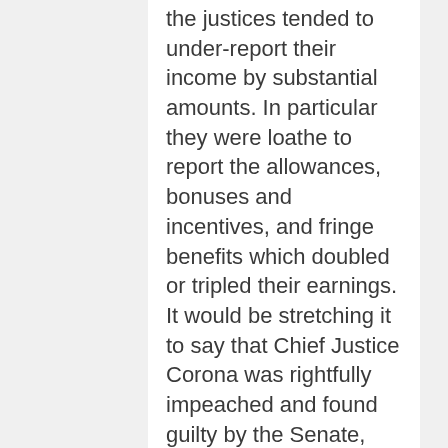the justices tended to under-report their income by substantial amounts. In particular they were loathe to report the allowances, bonuses and incentives, and fringe benefits which doubled or tripled their earnings. It would be stretching it to say that Chief Justice Corona was rightfully impeached and found guilty by the Senate, while the other Justices did not also present incomplete information.